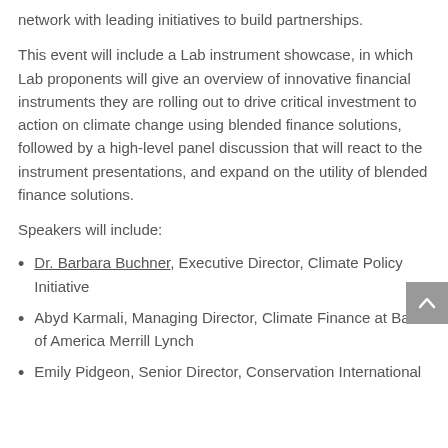network with leading initiatives to build partnerships.
This event will include a Lab instrument showcase, in which Lab proponents will give an overview of innovative financial instruments they are rolling out to drive critical investment to action on climate change using blended finance solutions, followed by a high-level panel discussion that will react to the instrument presentations, and expand on the utility of blended finance solutions.
Speakers will include:
Dr. Barbara Buchner, Executive Director, Climate Policy Initiative
Abyd Karmali, Managing Director, Climate Finance at Bank of America Merrill Lynch
Emily Pidgeon, Senior Director, Conservation International